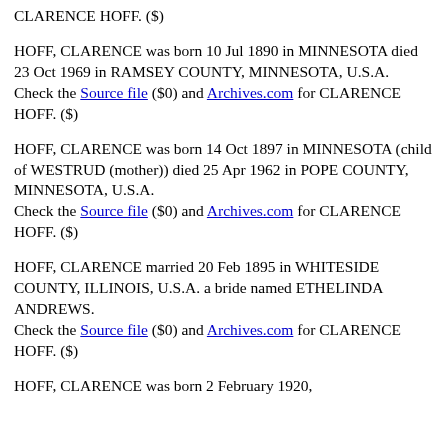CLARENCE HOFF. ($)
HOFF, CLARENCE was born 10 Jul 1890 in MINNESOTA died 23 Oct 1969 in RAMSEY COUNTY, MINNESOTA, U.S.A. Check the Source file ($0) and Archives.com for CLARENCE HOFF. ($)
HOFF, CLARENCE was born 14 Oct 1897 in MINNESOTA (child of WESTRUD (mother)) died 25 Apr 1962 in POPE COUNTY, MINNESOTA, U.S.A. Check the Source file ($0) and Archives.com for CLARENCE HOFF. ($)
HOFF, CLARENCE married 20 Feb 1895 in WHITESIDE COUNTY, ILLINOIS, U.S.A. a bride named ETHELINDA ANDREWS. Check the Source file ($0) and Archives.com for CLARENCE HOFF. ($)
HOFF, CLARENCE was born 2 February 1920,